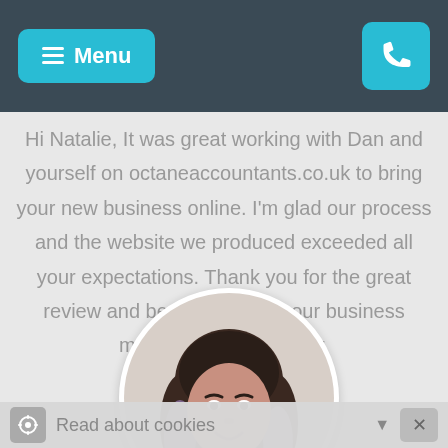Menu
Hi Natalie, It was great working with Dan and yourself on octaneaccountants.co.uk to bring your new business online. I'm glad our process and the website we produced exceeded all your expectations. Thank you for the great review and best of luck for your business moving forward. Jen Sr.
[Figure (photo): Oval portrait photo of a woman with dark hair highlighted with purple/lilac tones, wearing a dark top and necklace, smiling at the camera.]
Read about cookies